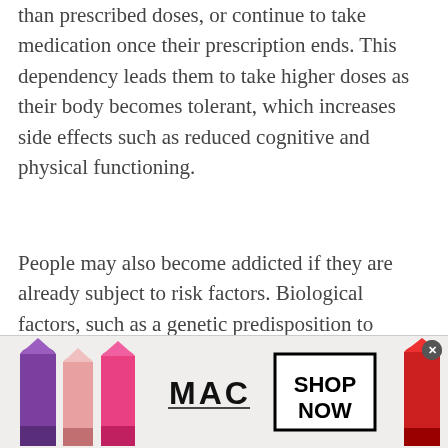than prescribed doses, or continue to take medication once their prescription ends. This dependency leads them to take higher doses as their body becomes tolerant, which increases side effects such as reduced cognitive and physical functioning.
People may also become addicted if they are already subject to risk factors. Biological factors, such as a genetic predisposition to developing addiction could mean someone is more likely to become addicted to something that another person who is subjected to the same environment as them. Mental health issues
[Figure (photo): MAC Cosmetics advertisement banner showing lipsticks in purple, pink, and red colors with MAC logo and a 'SHOP NOW' button box]